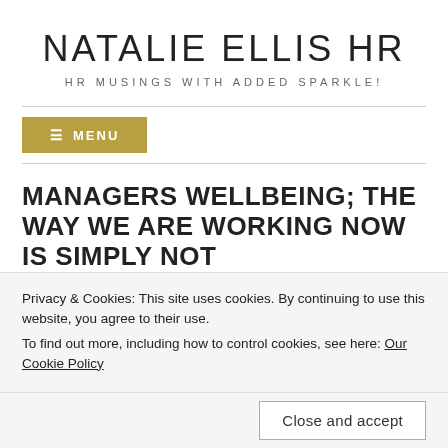NATALIE ELLIS HR
HR MUSINGS WITH ADDED SPARKLE!
MENU
MANAGERS WELLBEING; THE WAY WE ARE WORKING NOW IS SIMPLY NOT
Privacy & Cookies: This site uses cookies. By continuing to use this website, you agree to their use.
To find out more, including how to control cookies, see here: Our Cookie Policy
Close and accept